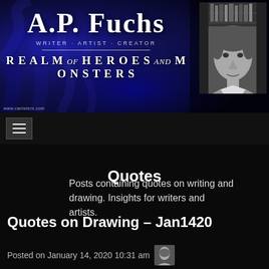[Figure (screenshot): Website header banner for A.P. Fuchs — Writer · Artist · Creator. Dark blue background with abstract smoke/flame texture. Title text 'A.P. FUCHS' and tagline 'REALM OF HEROES AND MONSTERS'. A black and white portrait photo of a man on the right side. URL www.canisterx.com at bottom left.]
[Figure (screenshot): Black navigation bar with a hamburger menu icon (three horizontal lines) on the left.]
Quotes
Posts containing quotes on writing and drawing. Insights for writers and artists.
Quotes on Drawing – Jan1420
Posted on January 14, 2020 10:31 am